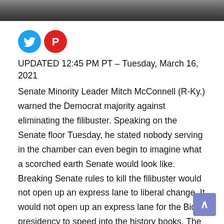[Figure (photo): Photo banner at top of news article page showing people in the background]
[Figure (logo): Twitter bird logo (blue circle) and Parler logo (red circle with P) social sharing icons]
UPDATED 12:45 PM PT – Tuesday, March 16, 2021
Senate Minority Leader Mitch McConnell (R-Ky.) warned the Democrat majority against eliminating the filibuster. Speaking on the Senate floor Tuesday, he stated nobody serving in the chamber can even begin to imagine what a scorched earth Senate would look like. Breaking Senate rules to kill the filibuster would not open up an express lane to liberal change. It would not open up an express lane for the Biden presidency to speed into the history books. The Senate would function more like a hundred-car pile-up. Nothing moving.